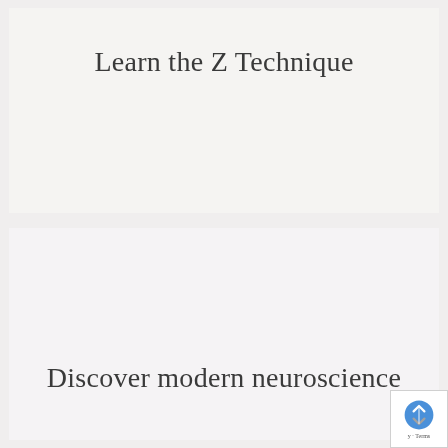Learn the Z Technique
Discover modern neuroscience